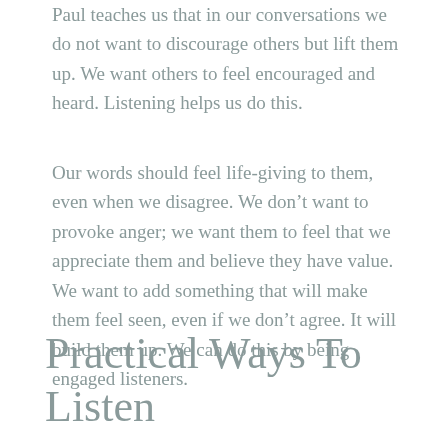Paul teaches us that in our conversations we do not want to discourage others but lift them up. We want others to feel encouraged and heard. Listening helps us do this.
Our words should feel life-giving to them, even when we disagree. We don’t want to provoke anger; we want them to feel that we appreciate them and believe they have value. We want to add something that will make them feel seen, even if we don’t agree. It will build them up. We can do this by being engaged listeners.
Practical Ways To Listen